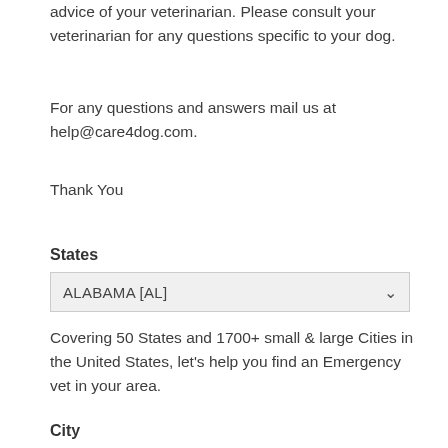advice of your veterinarian. Please consult your veterinarian for any questions specific to your dog.
For any questions and answers mail us at help@care4dog.com.
Thank You
States
ALABAMA [AL]
Covering 50 States and 1700+ small & large Cities in the United States, let's help you find an Emergency vet in your area.
City